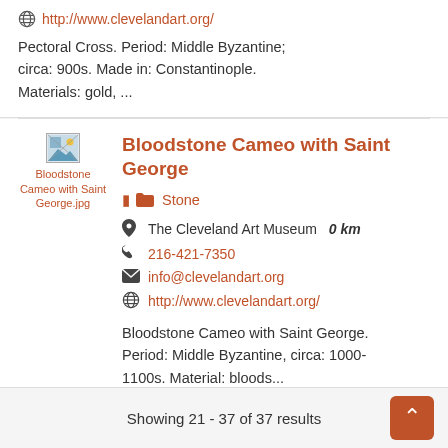http://www.clevelandart.org/
Pectoral Cross. Period: Middle Byzantine; circa: 900s. Made in: Constantinople. Materials: gold, ...
[Figure (photo): Broken image placeholder labeled 'Bloodstone Cameo with Saint George.jpg']
Bloodstone Cameo with Saint George
Stone
The Cleveland Art Museum  0 km
216-421-7350
info@clevelandart.org
http://www.clevelandart.org/
Bloodstone Cameo with Saint George. Period: Middle Byzantine, circa: 1000-1100s. Material: bloods...
Showing 21 - 37 of 37 results